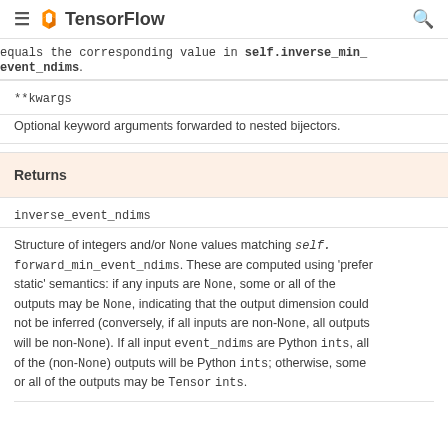TensorFlow
equals the corresponding value in self.inverse_min_event_ndims.
| Parameter | Description |
| --- | --- |
| **kwargs | Optional keyword arguments forwarded to nested bijectors. |
Returns
inverse_event_ndims
Structure of integers and/or None values matching self.forward_min_event_ndims. These are computed using 'prefer static' semantics: if any inputs are None, some or all of the outputs may be None, indicating that the output dimension could not be inferred (conversely, if all inputs are non-None, all outputs will be non-None). If all input event_ndims are Python ints, all of the (non-None) outputs will be Python ints; otherwise, some or all of the outputs may be Tensor ints.